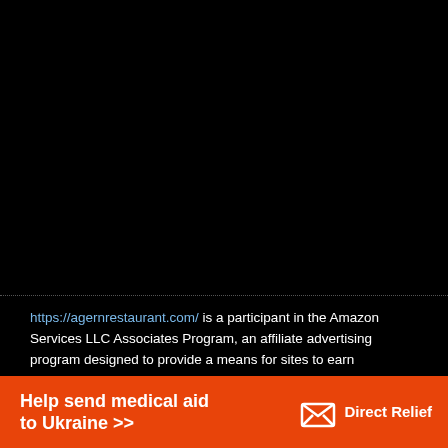[Figure (other): Large black area filling the top portion of the page]
https://agernrestaurant.com/ is a participant in the Amazon Services LLC Associates Program, an affiliate advertising program designed to provide a means for sites to earn advertising fees by advertising and linking to amazon.com. Amazon, the Amazon logo,
[Figure (infographic): Orange advertisement banner reading 'Help send medical aid to Ukraine >>' with Direct Relief logo on the right]